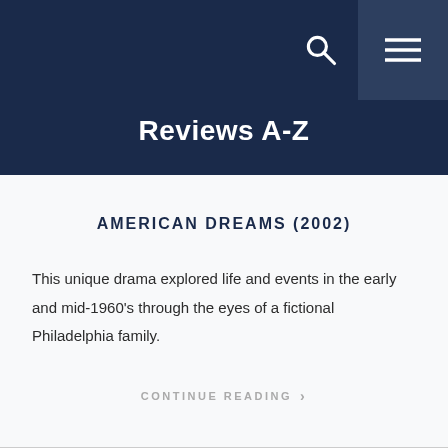Reviews A-Z
AMERICAN DREAMS (2002)
This unique drama explored life and events in the early and mid-1960's through the eyes of a fictional Philadelphia family.
CONTINUE READING  ›